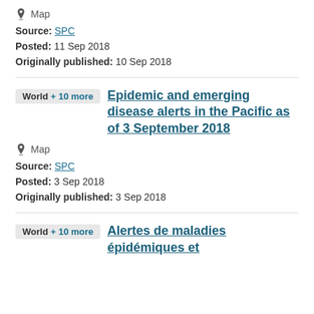Map
Source: SPC
Posted: 11 Sep 2018
Originally published: 10 Sep 2018
Epidemic and emerging disease alerts in the Pacific as of 3 September 2018
Map
Source: SPC
Posted: 3 Sep 2018
Originally published: 3 Sep 2018
Alertes de maladies épidémiques et